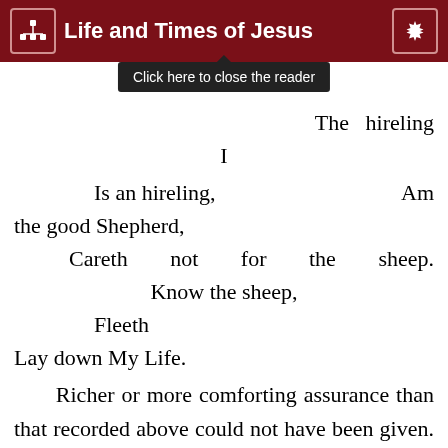Life and Times of Jesus
Click here to close the reader
The hireling
I
Is an hireling,                                                    Am the good Shepherd,
Careth not for the sheep.
Know the sheep,
Fleeth
Lay down My Life.
Richer or more comforting assurance than that recorded above could not have been given. But something special has here to be marked. The two first parallelisms always link the promise of Christ